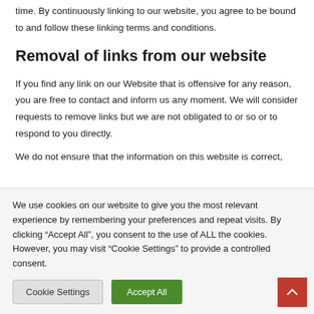time. By continuously linking to our website, you agree to be bound to and follow these linking terms and conditions.
Removal of links from our website
If you find any link on our Website that is offensive for any reason, you are free to contact and inform us any moment. We will consider requests to remove links but we are not obligated to or so or to respond to you directly.
We do not ensure that the information on this website is correct,
We use cookies on our website to give you the most relevant experience by remembering your preferences and repeat visits. By clicking “Accept All”, you consent to the use of ALL the cookies. However, you may visit “Cookie Settings” to provide a controlled consent.